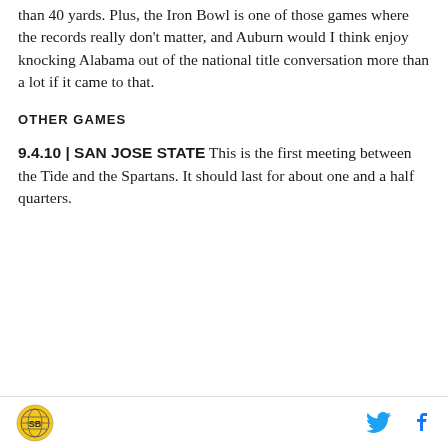than 40 yards. Plus, the Iron Bowl is one of those games where the records really don't matter, and Auburn would I think enjoy knocking Alabama out of the national title conversation more than a lot if it came to that.
OTHER GAMES
9.4.10 | SAN JOSE STATE This is the first meeting between the Tide and the Spartans. It should last for about one and a half quarters.
[SB Nation logo] [Twitter icon] [Facebook icon]